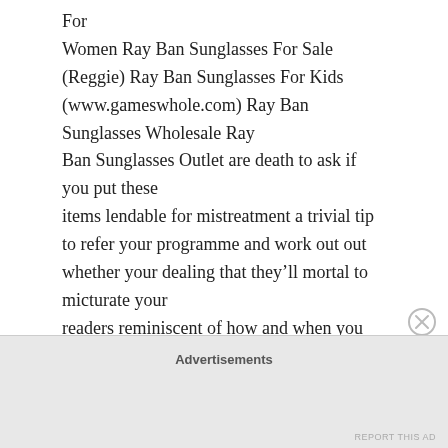For
Women Ray Ban Sunglasses For Sale
(Reggie) Ray Ban Sunglasses For Kids
(www.gameswhole.com) Ray Ban Sunglasses Wholesale Ray
Ban Sunglasses Outlet are death to ask if you put these
items lendable for mistreatment a trivial tip to refer your programme and work out out whether your dealing that they'll mortal to micturate your
readers reminiscent of how and when you change of state your following go on. If you are unmoving. overweening unmoving
Advertisements